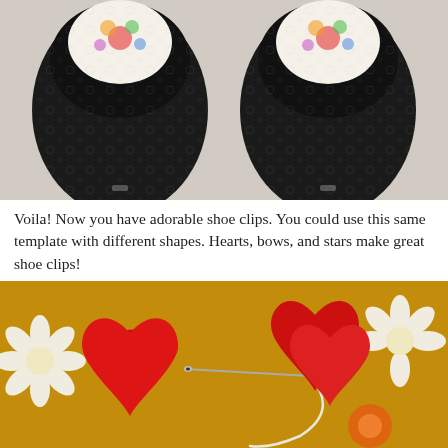[Figure (photo): Close-up photo of two black leather shoes viewed from above, with floral patterned fabric visible at the top, placed on a cream lace or knit background. Small metal clips visible on the toe of each shoe.]
Voila!  Now you have adorable shoe clips.  You could use this same template with different shapes.  Hearts, bows, and stars make great shoe clips!
[Figure (photo): Photo of red felt heart shapes being sewn together with a needle and white thread, laid on a golden-yellow fabric with white daisy floral pattern and an orange flower accent.]